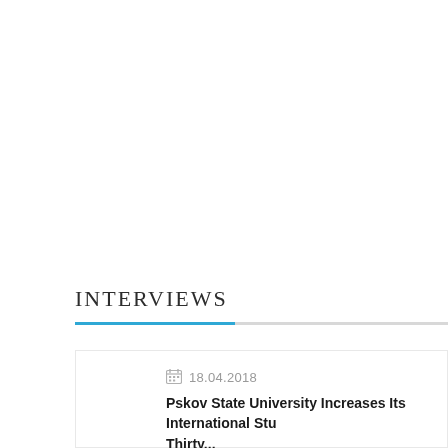INTERVIEWS
18.04.2018
Pskov State University Increases Its International Stu Thirty...